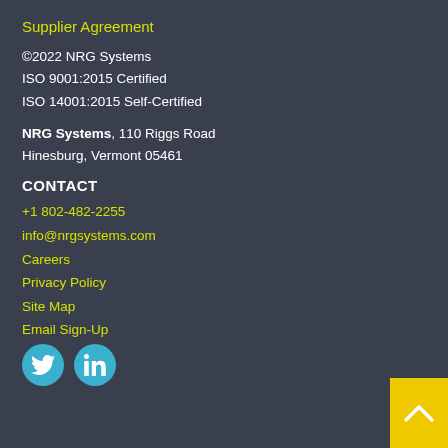Supplier Agreement
©2022 NRG Systems
ISO 9001:2015 Certified
ISO 14001:2015 Self-Certified
NRG Systems, 110 Riggs Road
Hinesburg, Vermont 05461
CONTACT
+1 802-482-2255
info@nrgsystems.com
Careers
Privacy Policy
Site Map
Email Sign-Up
[Figure (logo): Twitter and LinkedIn social media icons (cyan circles with white logos)]
[Figure (other): Yellow back-to-top arrow button in bottom right corner]